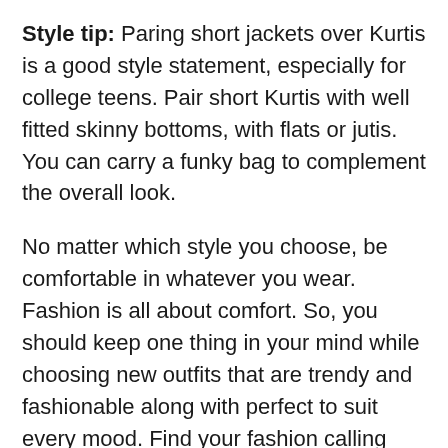Style tip: Paring short jackets over Kurtis is a good style statement, especially for college teens. Pair short Kurtis with well fitted skinny bottoms, with flats or jutis. You can carry a funky bag to complement the overall look.
No matter which style you choose, be comfortable in whatever you wear. Fashion is all about comfort. So, you should keep one thing in your mind while choosing new outfits that are trendy and fashionable along with perfect to suit every mood. Find your fashion calling with trendy women cotton Kurti & kurtas to pair with jeans. No matter the occasion, Save your better outfit for the big day.